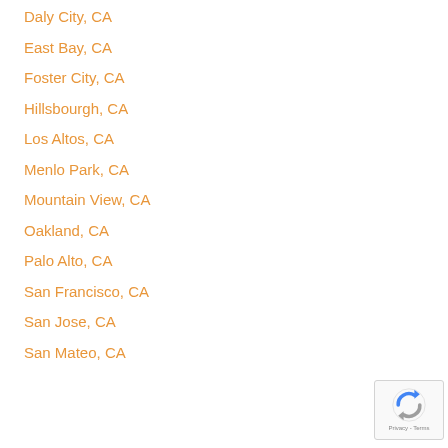Daly City, CA
East Bay, CA
Foster City, CA
Hillsbourgh, CA
Los Altos, CA
Menlo Park, CA
Mountain View, CA
Oakland, CA
Palo Alto, CA
San Francisco, CA
San Jose, CA
San Mateo, CA
[Figure (logo): reCAPTCHA badge with circular arrow icon and Privacy - Terms text]